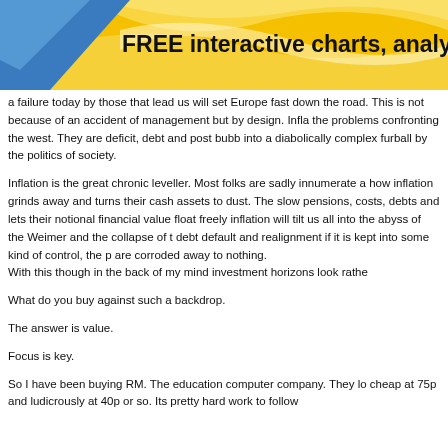[Figure (illustration): Yellow and orange swirling banner with blue triangle shape on the left, containing bold text: FREE interactive charts, analy]
a failure today by those that lead us will set Europe fast down the road. This is not because of an accident of management but by design. Infla the problems confronting the west. They are deficit, debt and post bubb into a diabolically complex furball by the politics of society.
Inflation is the great chronic leveller. Most folks are sadly innumerate a how inflation grinds away and turns their cash assets to dust. The slow pensions, costs, debts and lets their notional financial value float freely inflation will tilt us all into the abyss of the Weimer and the collapse of t debt default and realignment if it is kept into some kind of control, the p are corroded away to nothing. With this though in the back of my mind investment horizons look rathe
What do you buy against such a backdrop.
The answer is value.
Focus is key.
So I have been buying RM. The education computer company. They lo cheap at 75p and ludicrously at 40p or so. Its pretty hard work to follow